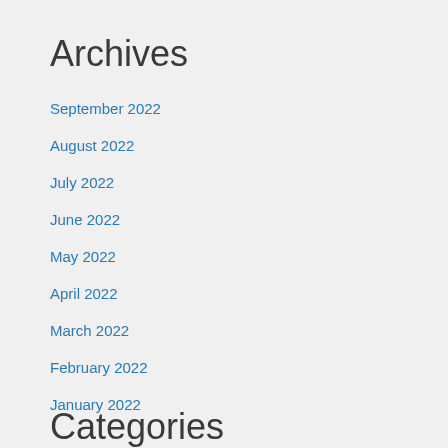Archives
September 2022
August 2022
July 2022
June 2022
May 2022
April 2022
March 2022
February 2022
January 2022
Categories